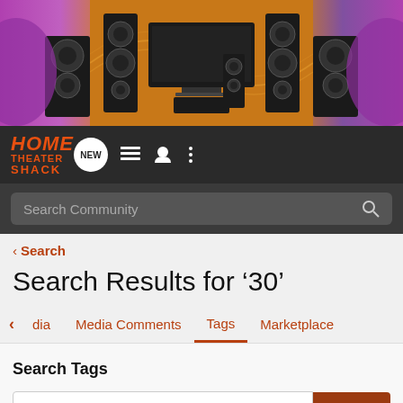[Figure (illustration): Home theater banner with speakers, TV/monitor, and purple/orange background]
[Figure (logo): Home Theater Shack logo in orange italic text on dark background]
Search Community
< Search
Search Results for ‘30’
dia  Media Comments  Tags  Marketplace
Search Tags
x 30  Search